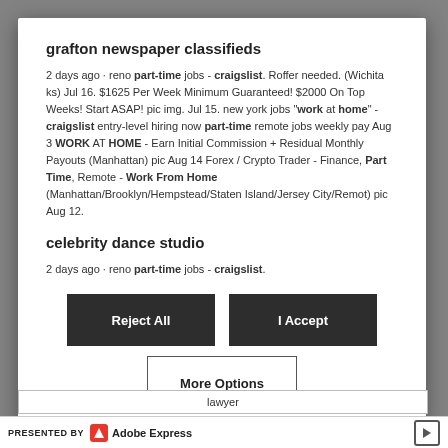grafton newspaper classifieds
2 days ago · reno part-time jobs - craigslist. Roffer needed. (Wichita ks) Jul 16. $1625 Per Week Minimum Guaranteed! $2000 On Top Weeks! Start ASAP! pic img. Jul 15. new york jobs "work at home" - craigslist entry-level hiring now part-time remote jobs weekly pay Aug 3 WORK AT HOME - Earn Initial Commission + Residual Monthly Payouts (Manhattan) pic Aug 14 Forex / Crypto Trader - Finance, Part Time, Remote - Work From Home (Manhattan/Brooklyn/Hempstead/Staten Island/Jersey City/Remot) pic Aug 12.
celebrity dance studio
2 days ago · reno part-time jobs - craigslist.
Reject All
I Accept
More Options
lawyer
PRESENTED BY Adobe Express